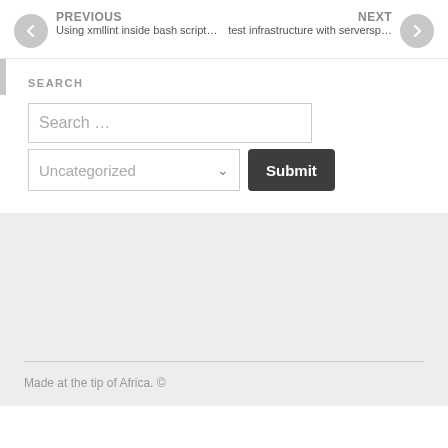PREVIOUS
Using xmllint inside bash script…
NEXT
test infrastructure with serversp…
SEARCH
Search …
Uncategorized
Submit
Made at the tip of Africa. ©